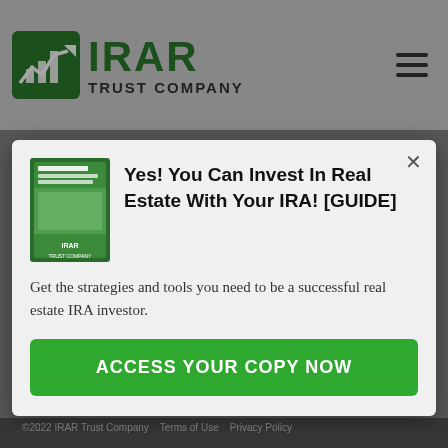[Figure (logo): IRAR Trust Company logo with green bar chart icon and company name]
[Figure (screenshot): Website navigation background with IRA RESOURCES INC header, PA, CONTACT US, SIGN IN menu items]
[Figure (illustration): BBB rating badge showing BBB RATING A+]
Yes! You Can Invest In Real Estate With Your IRA! [GUIDE]
Get the strategies and tools you need to be a successful real estate IRA investor.
ACCESS YOUR COPY NOW
©2022 IRAR Trust Company Terms of Use Privacy Policy